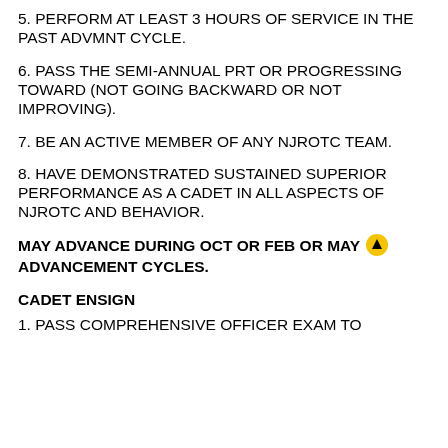5. PERFORM AT LEAST 3 HOURS OF SERVICE IN THE PAST ADVMNT CYCLE.
6. PASS THE SEMI-ANNUAL PRT OR PROGRESSING TOWARD (NOT GOING BACKWARD OR NOT IMPROVING).
7. BE AN ACTIVE MEMBER OF ANY NJROTC TEAM.
8. HAVE DEMONSTRATED SUSTAINED SUPERIOR PERFORMANCE AS A CADET IN ALL ASPECTS OF NJROTC AND BEHAVIOR.
MAY ADVANCE DURING OCT OR FEB OR MAY ADVANCEMENT CYCLES.
CADET ENSIGN
1. PASS COMPREHENSIVE OFFICER EXAM TO